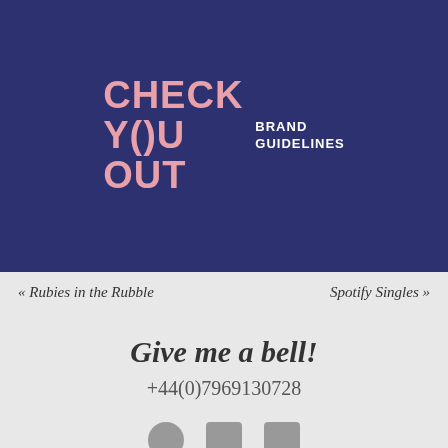[Figure (logo): CHECK Y()U OUT brand logo in pink text on dark navy blue background, with BRAND GUIDELINES text in white to the right]
« Rubies in the Rubble
Spotify Singles »
Give me a bell!
+44(0)7969130728